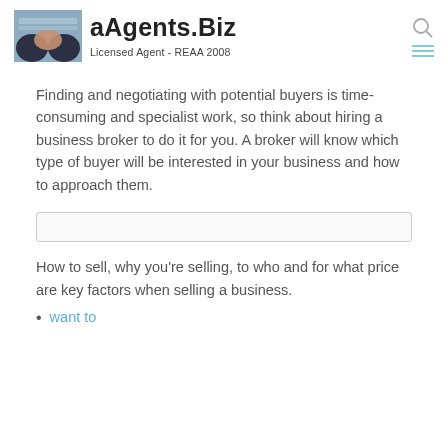aAgents.Biz — Licensed Agent - REAA 2008
Finding and negotiating with potential buyers is time-consuming and specialist work, so think about hiring a business broker to do it for you. A broker will know which type of buyer will be interested in your business and how to approach them.
How to sell, why you're selling, to who and for what price are key factors when selling a business.
want to